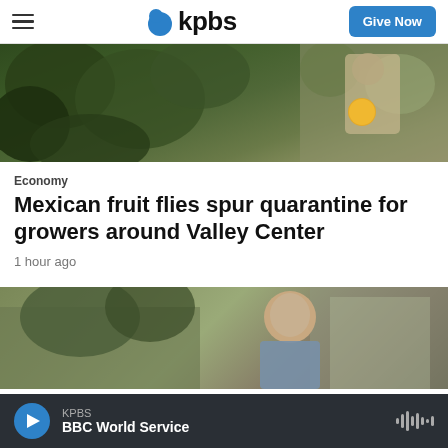kpbs | Give Now
[Figure (photo): Outdoor scene with green foliage and a person holding a yellow/orange fruit, presumably an orange or lemon, against a leafy background.]
Economy
Mexican fruit flies spur quarantine for growers around Valley Center
1 hour ago
[Figure (photo): Outdoor scene with a bald man in a suit being interviewed, with trees and a building visible in the background.]
KPBS BBC World Service